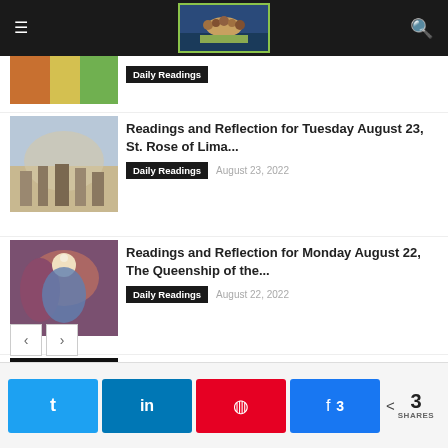Navigation bar with hamburger menu, Last Supper logo, and search icon
[Figure (photo): Partial article thumbnail - colorful image partially visible]
Daily Readings
[Figure (photo): Thumbnail of people gathered in ancient setting - biblical scene]
Readings and Reflection for Tuesday August 23, St. Rose of Lima...
Daily Readings  August 23, 2022
[Figure (photo): Thumbnail of religious painting - Queenship of Mary]
Readings and Reflection for Monday August 22, The Queenship of the...
Daily Readings  August 22, 2022
[Figure (photo): Thumbnail of dark image with two figures and glowing light]
Readings and Readings and for Sunday August 21, 21st Sunday in...
Daily Readings  August 21, 2022
< >
Twitter  LinkedIn  Pinterest  Facebook 3  3 SHARES